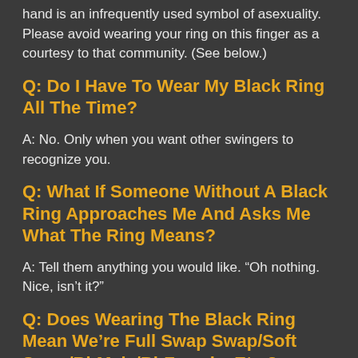hand is an infrequently used symbol of asexuality. Please avoid wearing your ring on this finger as a courtesy to that community. (See below.)
Q: Do I Have To Wear My Black Ring All The Time?
A: No. Only when you want other swingers to recognize you.
Q: What If Someone Without A Black Ring Approaches Me And Asks Me What The Ring Means?
A: Tell them anything you would like. “Oh nothing. Nice, isn’t it?”
Q: Does Wearing The Black Ring Mean We’re Full Swap Swap/Soft Swap/Bi-Male/Bi-Female, Etc.?